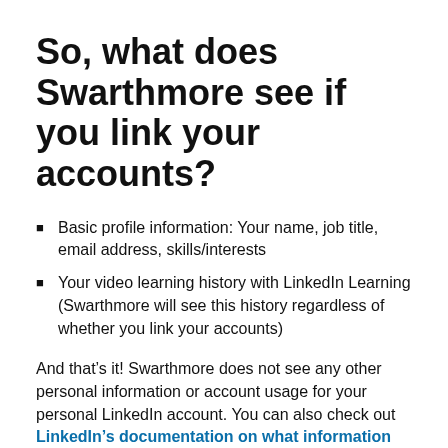So, what does Swarthmore see if you link your accounts?
Basic profile information: Your name, job title, email address, skills/interests
Your video learning history with LinkedIn Learning (Swarthmore will see this history regardless of whether you link your accounts)
And that’s it! Swarthmore does not see any other personal information or account usage for your personal LinkedIn account. You can also check out LinkedIn’s documentation on what information